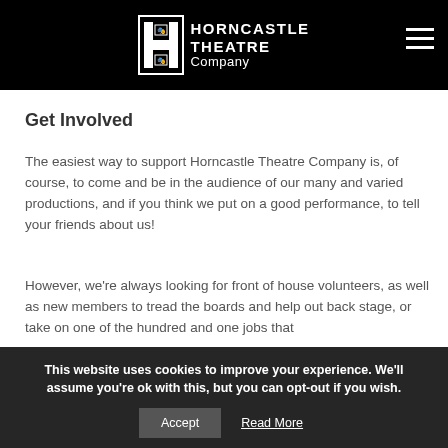HORNCASTLE THEATRE Company
Get Involved
The easiest way to support Horncastle Theatre Company is, of course, to come and be in the audience of our many and varied productions, and if you think we put on a good performance, to tell your friends about us!
However, we're always looking for front of house volunteers, as well as new members to tread the boards and help out back stage, or take on one of the hundred and one jobs that
This website uses cookies to improve your experience. We'll assume you're ok with this, but you can opt-out if you wish.
Accept  Read More